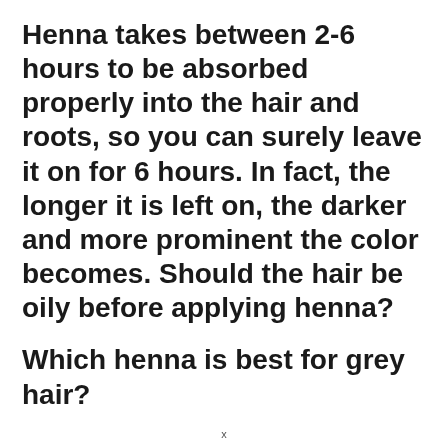Henna takes between 2-6 hours to be absorbed properly into the hair and roots, so you can surely leave it on for 6 hours. In fact, the longer it is left on, the darker and more prominent the color becomes. Should the hair be oily before applying henna?
Which henna is best for grey hair?